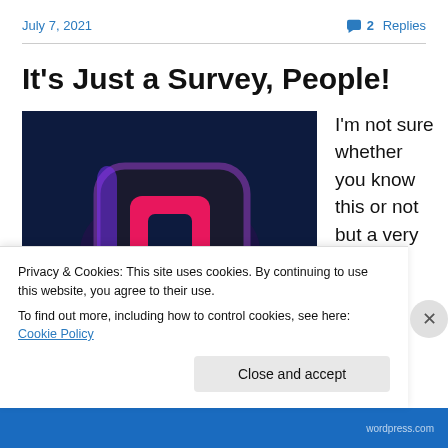July 7, 2021 | 💬 2 Replies
It's Just a Survey, People!
[Figure (photo): Dark blue background with a 3D rounded square icon featuring a pink/magenta geometric shape inset]
I'm not sure whether you know this or not but a very
Privacy & Cookies: This site uses cookies. By continuing to use this website, you agree to their use.
To find out more, including how to control cookies, see here: Cookie Policy
Close and accept